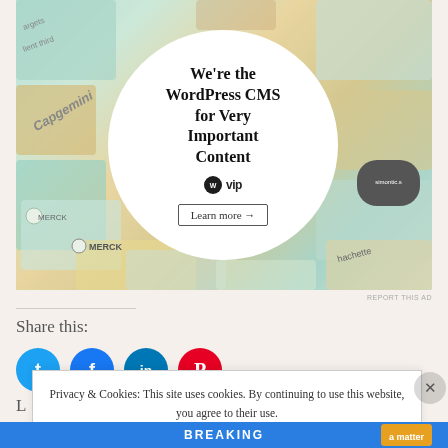[Figure (screenshot): WordPress VIP advertisement showing a collage of brand logos (Merck, Capgemini, Hachette) arranged around a central white circle with text 'We're the WordPress CMS for Very Important Content' with WordPress VIP logo and 'Learn more' button]
REPORT THIS AD
Share this:
[Figure (illustration): Row of social media sharing icons: Twitter (blue), Facebook (dark blue), LinkedIn (blue), Pinterest (red)]
Privacy & Cookies: This site uses cookies. By continuing to use this website, you agree to their use.
To find out more, including how to control cookies, see here:
Cookie Policy
Close and accept